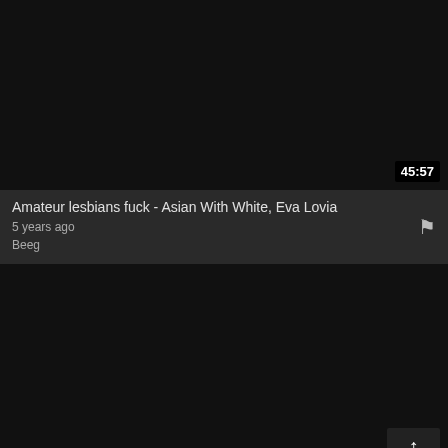[Figure (screenshot): Dark video thumbnail, nearly black, for first video card]
Amateur lesbians fuck - Asian With White, Eva Lovia
5 years ago
Beeg
[Figure (screenshot): Dark video thumbnail, nearly black, for second video card with up-arrow overlay badge showing 41:19]
Eva Lovia In Is So Fucking Hot - Cock In Ass, Eva Lovia Pov